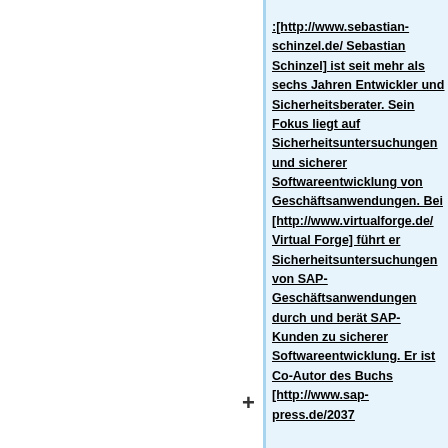:[http://www.sebastian-schinzel.de/ Sebastian Schinzel] ist seit mehr als sechs Jahren Entwickler und Sicherheitsberater. Sein Fokus liegt auf Sicherheitsuntersuchungen und sicherer Softwareentwicklung von Geschäftsanwendungen. Bei [http://www.virtualforge.de/ Virtual Forge] führt er Sicherheitsuntersuchungen von SAP-Geschäftsanwendungen durch und berät SAP-Kunden zu sicherer Softwareentwicklung. Er ist Co-Autor des Buchs [http://www.sap-press.de/2037